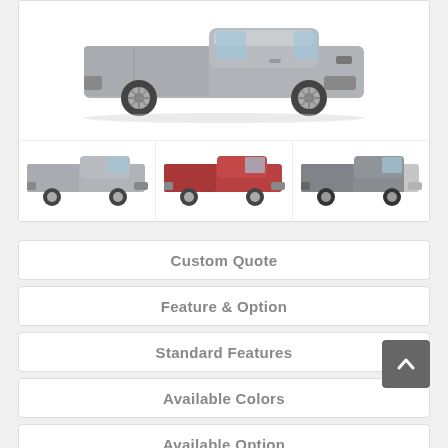[Figure (photo): Main vehicle photo showing a GMC Sierra pickup truck in silver/gray color from a side profile view]
[Figure (photo): Thumbnail of GMC Sierra pickup truck in silver/gray from side profile]
[Figure (photo): Thumbnail of GMC Sierra pickup truck in red/copper color from side profile]
[Figure (photo): Thumbnail of GMC Sierra pickup truck in dark gray from side profile, partially cropped]
Custom Quote
Feature & Option
Standard Features
Available Colors
Available Option